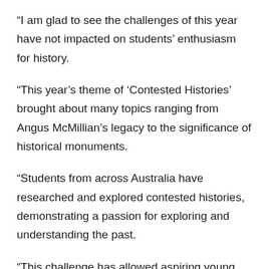“I am glad to see the challenges of this year have not impacted on students’ enthusiasm for history.
“This year’s theme of ‘Contested Histories’ brought about many topics ranging from Angus McMillian’s legacy to the significance of historical monuments.
“Students from across Australia have researched and explored contested histories, demonstrating a passion for exploring and understanding the past.
“This challenge has allowed aspiring young historians to broaden their understanding of people, societies and culture, and of how we came to live in the world we do today.